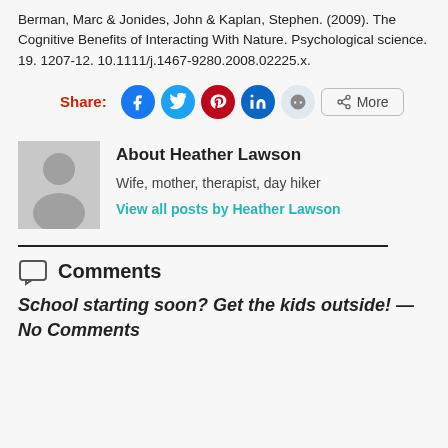Berman, Marc & Jonides, John & Kaplan, Stephen. (2009). The Cognitive Benefits of Interacting With Nature. Psychological science. 19. 1207-12. 10.1111/j.1467-9280.2008.02225.x.
Share:
[Figure (infographic): Social sharing buttons: Facebook (blue circle), Twitter (light blue circle), Pinterest (red circle), LinkedIn (dark blue circle), Reddit (light grey circle), and a More button with share icon]
[Figure (photo): Generic author avatar placeholder silhouette on grey background]
About Heather Lawson
Wife, mother, therapist, day hiker
View all posts by Heather Lawson
Comments
School starting soon? Get the kids outside! — No Comments